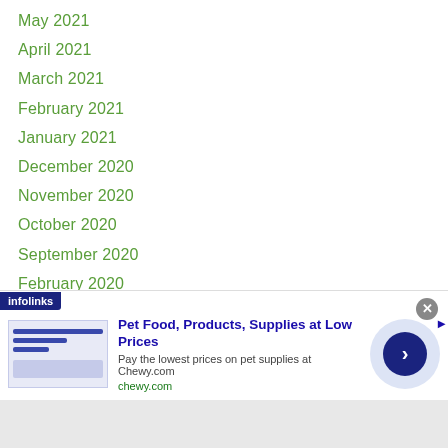May 2021
April 2021
March 2021
February 2021
January 2021
December 2020
November 2020
October 2020
September 2020
February 2020
January 2020
December 2019
November 2019
October 2019
September 2019
2019
[Figure (screenshot): Infolinks advertisement banner for Chewy.com pet food and supplies]